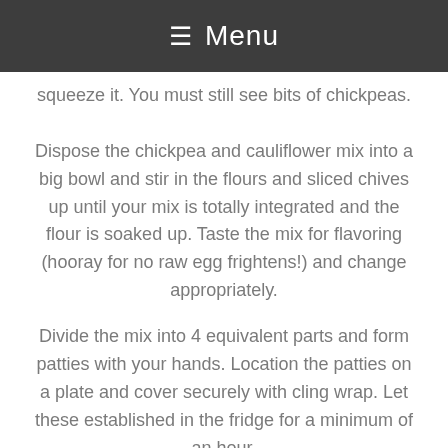☰ Menu
squeeze it. You must still see bits of chickpeas. Dispose the chickpea and cauliflower mix into a big bowl and stir in the flours and sliced chives up until your mix is totally integrated and the flour is soaked up. Taste the mix for flavoring (hooray for no raw egg frightens!) and change appropriately.
Divide the mix into 4 equivalent parts and form patties with your hands. Location the patties on a plate and cover securely with cling wrap. Let these established in the fridge for a minimum of an hour.
Make the cashew lemon mayo. In a mixer pitcher, integrate the cashews, lemon juice, gewurztraminer